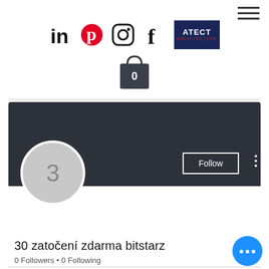[Figure (screenshot): Website header with hamburger menu icon in top right]
[Figure (screenshot): Social media icons: LinkedIn, Pinterest, Instagram, Facebook, and ATECT Architecture logo]
[Figure (screenshot): Shopping bag icon with number 0]
[Figure (screenshot): Dark profile banner with Follow button and 3-dot menu, circular avatar with number 3]
30 zatočení zdarma bitstarz
0 Followers • 0 Following
[Figure (screenshot): Blue chat bubble button with three dots]